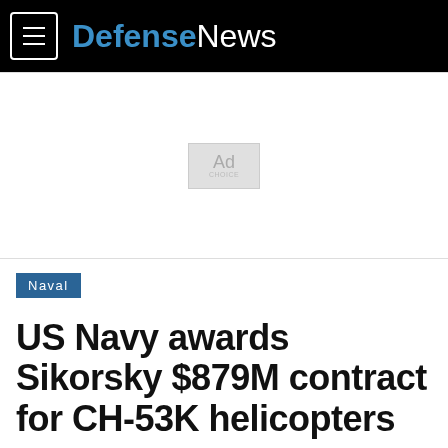DefenseNews
[Figure (other): Advertisement placeholder box labeled 'Ad']
Naval
US Navy awards Sikorsky $879M contract for CH-53K helicopters